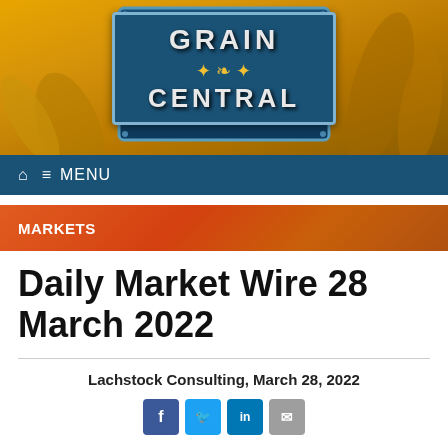[Figure (logo): Grain Central logo on dark blue background with wheat imagery banner. Golden wheat field background with central dark blue rectangular logo plate showing GRAIN CENTRAL text in silver/white bold letters with gold wheat wreath icon.]
MENU
MARKETS
Daily Market Wire 28 March 2022
Lachstock Consulting, March 28, 2022